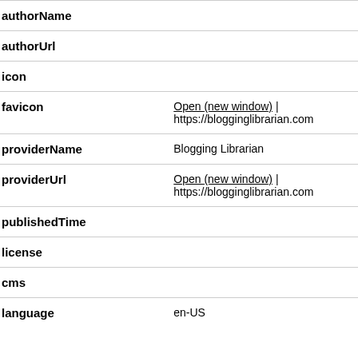| Field | Value |
| --- | --- |
| authorName |  |
| authorUrl |  |
| icon |  |
| favicon | Open (new window) | https://blogginglibrarian.com |
| providerName | Blogging Librarian |
| providerUrl | Open (new window) | https://blogginglibrarian.com |
| publishedTime |  |
| license |  |
| cms |  |
| language | en-US |